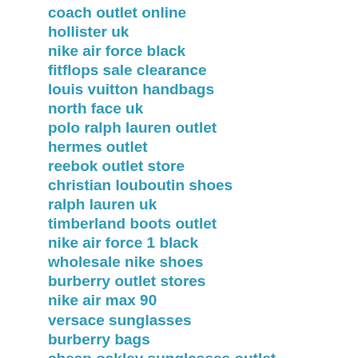coach outlet online
hollister uk
nike air force black
fitflops sale clearance
louis vuitton handbags
north face uk
polo ralph lauren outlet
hermes outlet
reebok outlet store
christian louboutin shoes
ralph lauren uk
timberland boots outlet
nike air force 1 black
wholesale nike shoes
burberry outlet stores
nike air max 90
versace sunglasses
burberry bags
cheap oakley sunglasses outlet
louis vuitton outlet online
cheap oakleys
kobe bryant shoes
babyliss hair